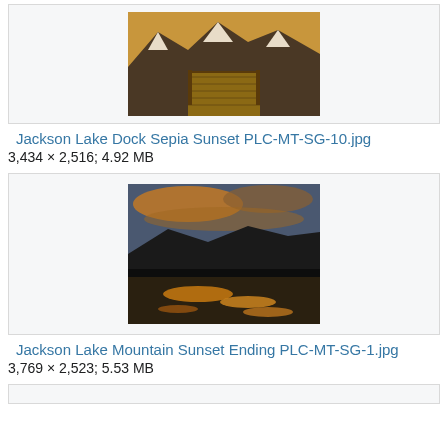[Figure (photo): Jackson Lake Dock with wooden pier and snow-capped mountains under a sepia sunset sky]
Jackson Lake Dock Sepia Sunset PLC-MT-SG-10.jpg
3,434 × 2,516; 4.92 MB
[Figure (photo): Jackson Lake Mountain sunset with golden reflections on the lake and dark mountain silhouette against colorful sky]
Jackson Lake Mountain Sunset Ending PLC-MT-SG-1.jpg
3,769 × 2,523; 5.53 MB